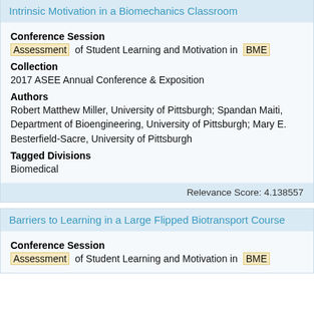Intrinsic Motivation in a Biomechanics Classroom
Conference Session
Assessment of Student Learning and Motivation in BME
Collection
2017 ASEE Annual Conference & Exposition
Authors
Robert Matthew Miller, University of Pittsburgh; Spandan Maiti, Department of Bioengineering, University of Pittsburgh; Mary E. Besterfield-Sacre, University of Pittsburgh
Tagged Divisions
Biomedical
Relevance Score: 4.138557
Barriers to Learning in a Large Flipped Biotransport Course
Conference Session
Assessment of Student Learning and Motivation in BME